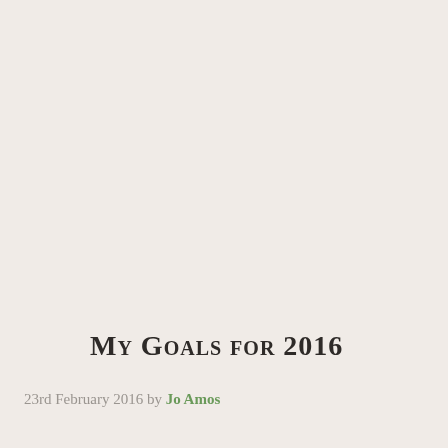My Goals for 2016
23rd February 2016 by Jo Amos